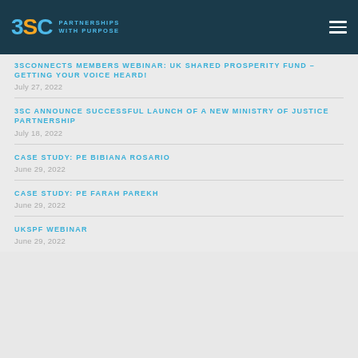3SC PARTNERSHIPS WITH PURPOSE
3SCONNECTS MEMBERS WEBINAR: UK SHARED PROSPERITY FUND – GETTING YOUR VOICE HEARD!
July 27, 2022
3SC ANNOUNCE SUCCESSFUL LAUNCH OF A NEW MINISTRY OF JUSTICE PARTNERSHIP
July 18, 2022
CASE STUDY: PE BIBIANA ROSARIO
June 29, 2022
CASE STUDY: PE FARAH PAREKH
June 29, 2022
UKSPF WEBINAR
June 29, 2022